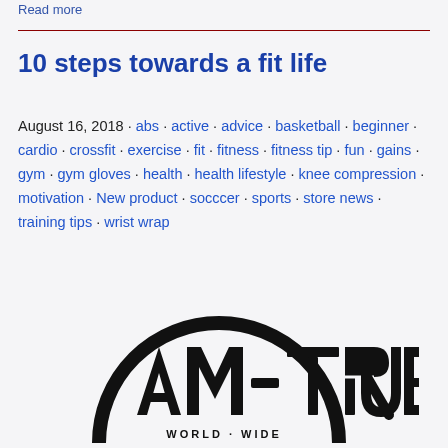Read more
10 steps towards a fit life
August 16, 2018 · abs · active · advice · basketball · beginner · cardio · crossfit · exercise · fit · fitness · fitness tip · fun · gains · gym · gym gloves · health · health lifestyle · knee compression · motivation · New product · socccer · sports · store news · training tips · wrist wrap
[Figure (logo): AM-TRUE WORLD WIDE circular logo in black]